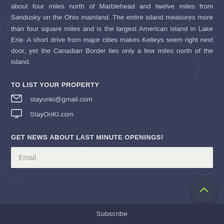about four miles north of Marblehead and twelve miles from Sandusky on the Ohio mainland. The entire island measures more than four square miles and is the largest American island in Lake Erie. A short drive from major cities makes Kelleys seem right next door, yet the Canadian Border lies only a few miles north of the island.
TO LIST YOUR PROPERTY
stayonki@gmail.com
StayOnKI.com
GET NEWS ABOUT LAST MINUTE OPENINGS!
Email
Subscribe